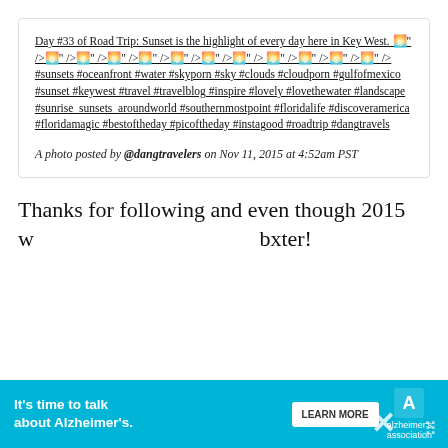Day #33 of Road Trip: Sunset is the highlight of every day here in Key West. 🌅" />🌅" />🌅" />🌅" />🌅" />🌅" />🌅" />🌅" />🌅" />🌅" />🌅" />🌅" /> #sunsets #oceanfront #water #skyporn #sky #clouds #cloudporn #gulfofmexico #sunset #keywest #travel #travelblog #inspire #lovely #lovethewater #landscape #sunrise_sunsets_aroundworld #southernmostpoint #floridalife #discoveramerica #floridamagic #bestoftheday #picoftheday #instagood #roadtrip #dangtravels
A photo posted by @dangtravelers on Nov 11, 2015 at 4:52am PST
Thanks for following and even though 2015 w... bxter!
[Figure (infographic): Advertisement banner: teal/cyan background with white text 'It's time to talk about Alzheimer's.' with a Learn More button and Alzheimer's Association logo]